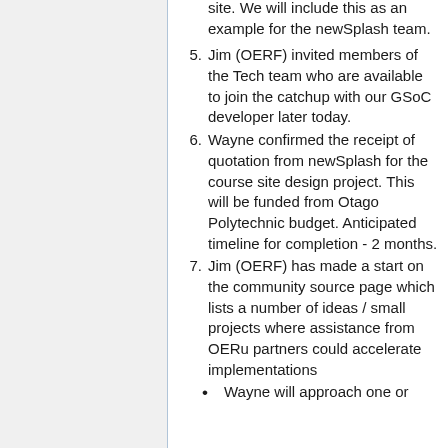site. We will include this as an example for the newSplash team.
5. Jim (OERF) invited members of the Tech team who are available to join the catchup with our GSoC developer later today.
6. Wayne confirmed the receipt of quotation from newSplash for the course site design project. This will be funded from Otago Polytechnic budget. Anticipated timeline for completion - 2 months.
7. Jim (OERF) has made a start on the community source page which lists a number of ideas / small projects where assistance from OERu partners could accelerate implementations
Wayne will approach one or